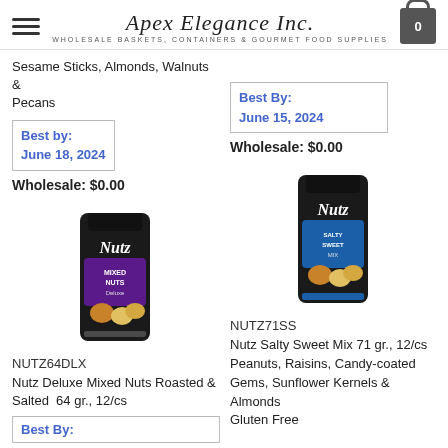Apex Elegance Inc. — WHOLESALE BASKETS, CONTAINERS & GOURMET FOOD SUPPLIES
Sesame Sticks, Almonds, Walnuts & Pecans
Best by:
June 18, 2024
Wholesale: $0.00
Best By:
June 15, 2024
Wholesale: $0.00
[Figure (photo): Nutz brand snack bag — Deluxe Mixed Nuts, black packaging with purple label]
NUTZ64DLX
Nutz Deluxe Mixed Nuts Roasted & Salted  64 gr., 12/cs
Best By:
[Figure (photo): Nutz brand snack bag — Salty Sweet Mix, black packaging with blue label]
NUTZ71SS
Nutz Salty Sweet Mix 71 gr., 12/cs Peanuts, Raisins, Candy-coated Gems, Sunflower Kernels & Almonds Gluten Free